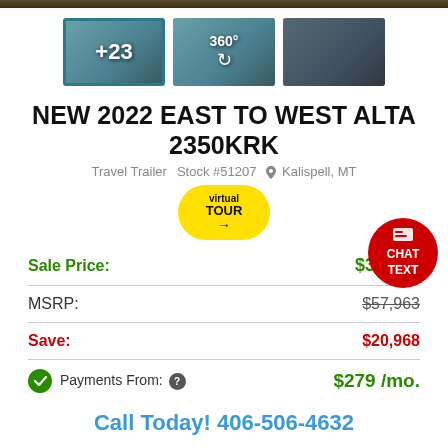[Figure (photo): Three thumbnail images of RV interior: first selected with +23 label, second with 360° tour icon, third showing TV area]
NEW 2022 EAST TO WEST ALTA 2350KRK
Travel Trailer   Stock #51207   Kalispell, MT
[Figure (other): Virtual Tour yellow badge button]
[Figure (other): Red circular Chat / Text button]
| Label | Value |
| --- | --- |
| Sale Price: | $36,995 |
| MSRP: | $57,963 |
| Save: | $20,968 |
| Payments From: | $279 /mo. |
Call Today! 406-506-4632